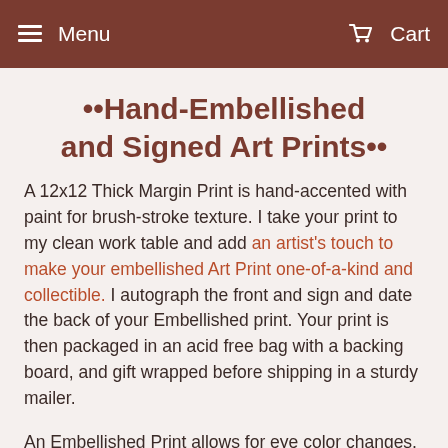Menu  Cart
••Hand-Embellished and Signed Art Prints••
A 12x12 Thick Margin Print is hand-accented with paint for brush-stroke texture. I take your print to my clean work table and add an artist's touch to make your embellished Art Print one-of-a-kind and collectible. I autograph the front and sign and date the back of your Embellished print. Your print is then packaged in an acid free bag with a backing board, and gift wrapped before shipping in a sturdy mailer.
An Embellished Print allows for eye color changes, or color accents added to hair. I can darken or lighten hair, or add some facial hair, all with paint. I can even add names or